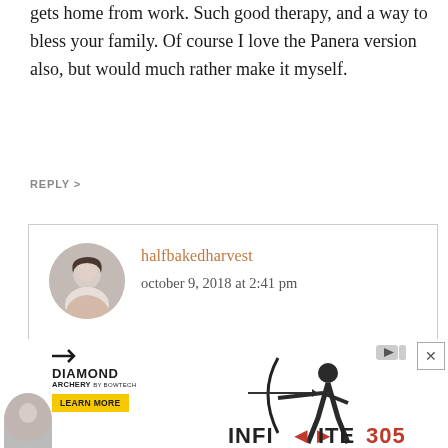gets home from work. Such good therapy, and a way to bless your family. Of course I love the Panera version also, but would much rather make it myself.
REPLY >
halfbakedharvest
october 9, 2018 at 2:41 pm
That is so sweet of you! I hope you love this recipe, Michael! Thank you!
REPLY >
[Figure (other): Diamond Archery advertisement banner with Infinite 305 text and archery equipment imagery]